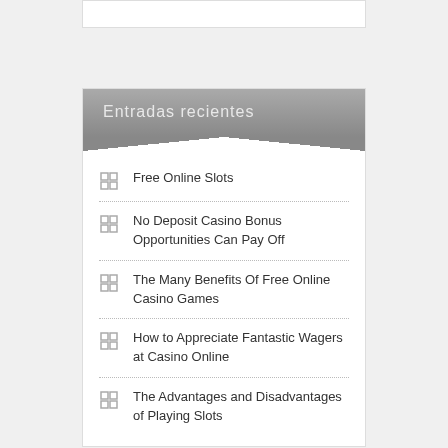Entradas recientes
Free Online Slots
No Deposit Casino Bonus Opportunities Can Pay Off
The Many Benefits Of Free Online Casino Games
How to Appreciate Fantastic Wagers at Casino Online
The Advantages and Disadvantages of Playing Slots